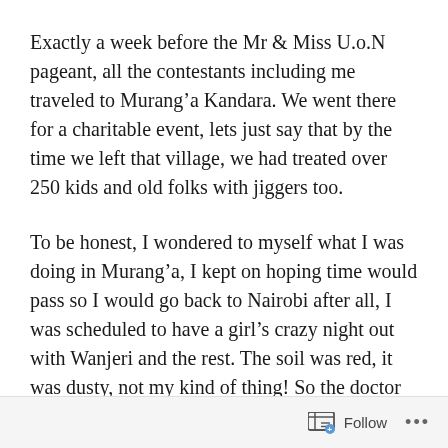Exactly a week before the Mr & Miss U.o.N pageant, all the contestants including me traveled to Murang'a Kandara. We went there for a charitable event, lets just say that by the time we left that village, we had treated over 250 kids and old folks with jiggers too.
To be honest, I wondered to myself what I was doing in Murang'a, I kept on hoping time would pass so I would go back to Nairobi after all, I was scheduled to have a girl's crazy night out with Wanjeri and the rest. The soil was red, it was dusty, not my kind of thing! So the doctor showed us the 3 ways of how to wash the jigger infested legs with medicine, gloves on and kazi ikaendelea! My attitude was let's get this over and done...
Follow ...